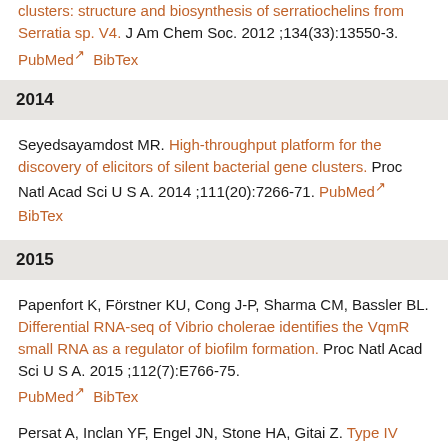clusters: structure and biosynthesis of serratiochelins from Serratia sp. V4. J Am Chem Soc. 2012;134(33):13550-3. PubMed BibTex
2014
Seyedsayamdost MR. High-throughput platform for the discovery of elicitors of silent bacterial gene clusters. Proc Natl Acad Sci U S A. 2014;111(20):7266-71. PubMed BibTex
2015
Papenfort K, Förstner KU, Cong J-P, Sharma CM, Bassler BL. Differential RNA-seq of Vibrio cholerae identifies the VqmR small RNA as a regulator of biofilm formation. Proc Natl Acad Sci U S A. 2015;112(7):E766-75. PubMed BibTex
Persat A, Inclan YF, Engel JN, Stone HA, Gitai Z. Type IV